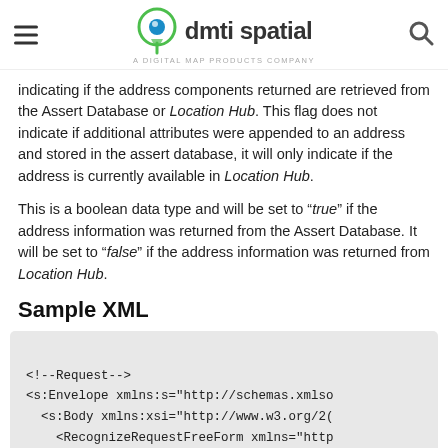dmti spatial — A DIGITAL MAP PRODUCTS COMPANY
indicating if the address components returned are retrieved from the Assert Database or Location Hub. This flag does not indicate if additional attributes were appended to an address and stored in the assert database, it will only indicate if the address is currently available in Location Hub.
This is a boolean data type and will be set to "true" if the address information was returned from the Assert Database. It will be set to "false" if the address information was returned from Location Hub.
Sample XML
<!--Request-->
<s:Envelope xmlns:s="http://schemas.xmlso
  <s:Body xmlns:xsi="http://www.w3.org/2(
    <RecognizeRequestFreeForm xmlns="http
      <AttributeQuery/>